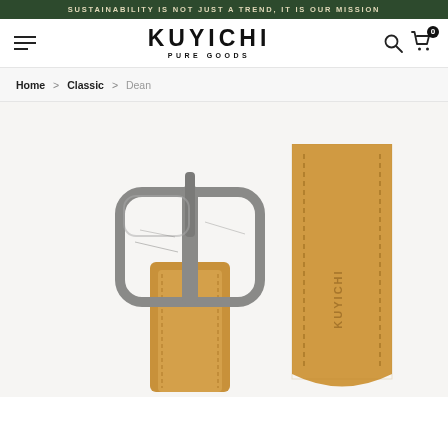SUSTAINABILITY IS NOT JUST A TREND, IT IS OUR MISSION
KUYICHI PURE GOODS
Home > Classic > Dean
[Figure (photo): Product photo of Kuyichi Dean belt showing a silver metal buckle on a tan/camel leather belt on the left, and the tan leather belt end with KUYICHI embossed logo on the right, against a light background.]